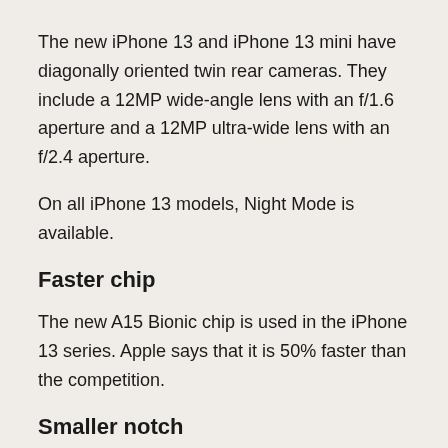The new iPhone 13 and iPhone 13 mini have diagonally oriented twin rear cameras. They include a 12MP wide-angle lens with an f/1.6 aperture and a 12MP ultra-wide lens with an f/2.4 aperture.
On all iPhone 13 models, Night Mode is available.
Faster chip
The new A15 Bionic chip is used in the iPhone 13 series. Apple says that it is 50% faster than the competition.
Smaller notch
The iPhone X introduced the controversial “notch.”